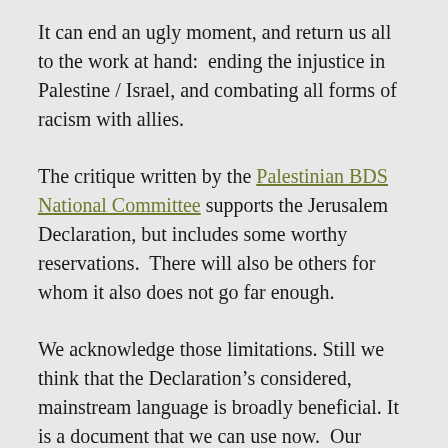It can end an ugly moment, and return us all to the work at hand:  ending the injustice in Palestine / Israel, and combating all forms of racism with allies.
The critique written by the Palestinian BDS National Committee supports the Jerusalem Declaration, but includes some worthy reservations.  There will also be others for whom it also does not go far enough.
We acknowledge those limitations. Still we think that the Declaration’s considered, mainstream language is broadly beneficial. It is a document that we can use now.  Our advocacy has suffered from the lack of such an